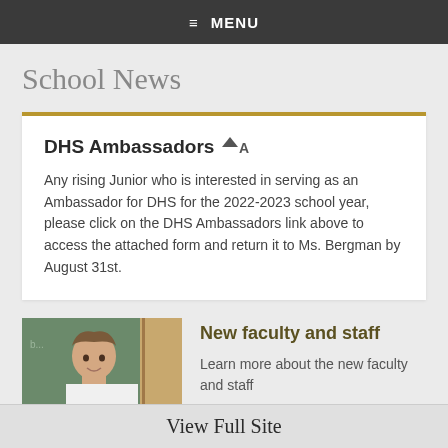≡ MENU
School News
DHS Ambassadors ▼▲
Any rising Junior who is interested in serving as an Ambassador for DHS for the 2022-2023 school year, please click on the DHS Ambassadors link above to access the attached form and return it to Ms. Bergman by August 31st.
[Figure (photo): Photo of a smiling woman in front of a chalkboard]
New faculty and staff
Learn more about the new faculty and staff
View Full Site